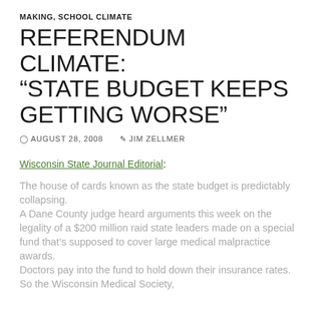MAKING, SCHOOL CLIMATE
REFERENDUM CLIMATE: “STATE BUDGET KEEPS GETTING WORSE”
AUGUST 28, 2008   JIM ZELLMER
Wisconsin State Journal Editorial:
The house of cards known as the state budget is predictably collapsing.
A Dane County judge heard arguments this week on the legality of a $200 million raid state leaders made on a special fund that’s supposed to cover large medical malpractice awards.
Doctors pay into the fund to hold down their insurance rates. So the Wisconsin Medical Society,